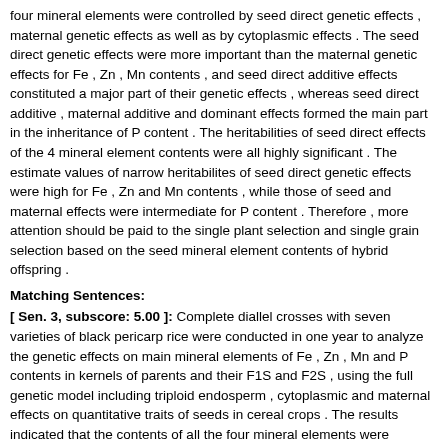four mineral elements were controlled by seed direct genetic effects , maternal genetic effects as well as by cytoplasmic effects . The seed direct genetic effects were more important than the maternal genetic effects for Fe , Zn , Mn contents , and seed direct additive effects constituted a major part of their genetic effects , whereas seed direct additive , maternal additive and dominant effects formed the main part in the inheritance of P content . The heritabilities of seed direct effects of the 4 mineral element contents were all highly significant . The estimate values of narrow heritabilites of seed direct genetic effects were high for Fe , Zn and Mn contents , while those of seed and maternal effects were intermediate for P content . Therefore , more attention should be paid to the single plant selection and single grain selection based on the seed mineral element contents of hybrid offspring .
Matching Sentences:
[ Sen. 3, subscore: 5.00 ]: Complete diallel crosses with seven varieties of black pericarp rice were conducted in one year to analyze the genetic effects on main mineral elements of Fe , Zn , Mn and P contents in kernels of parents and their F1S and F2S , using the full genetic model including triploid endosperm , cytoplasmic and maternal effects on quantitative traits of seeds in cereal crops . The results indicated that the contents of all the four mineral elements were controlled by seed direct genetic effects , maternal genetic effects as well as by cytoplasmic effects . The seed direct genetic effects were more important than the maternal genetic effects for Fe , Zn , Mn contents , and seed direct additive effects constituted a major part of their genetic effects , whereas seed direct additive , maternal additive and dominant effects formed the main part in the inheritance of P content . The heritabilities of seed direct effects of the 4 mineral element contents were all highly significant . The estimate values of narrow heritabilites of seed direct genetic effects were high for Fe , Zn and Mn